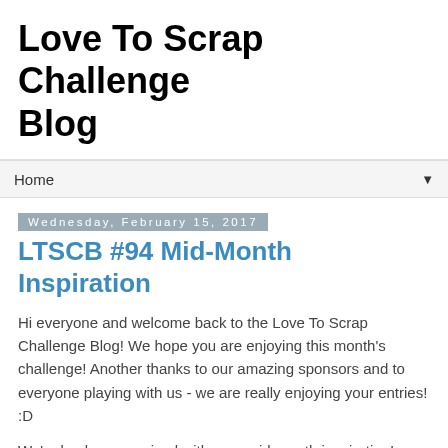Love To Scrap Challenge Blog
Home
Wednesday, February 15, 2017
LTSCB #94 Mid-Month Inspiration
Hi everyone and welcome back to the Love To Scrap Challenge Blog! We hope you are enjoying this month's challenge! Another thanks to our amazing sponsors and to everyone playing with us - we are really enjoying your entries! :D
We're back as promised with your mid-month inspiration!
Take a look at the second group of pretties from The Scrappy Girls